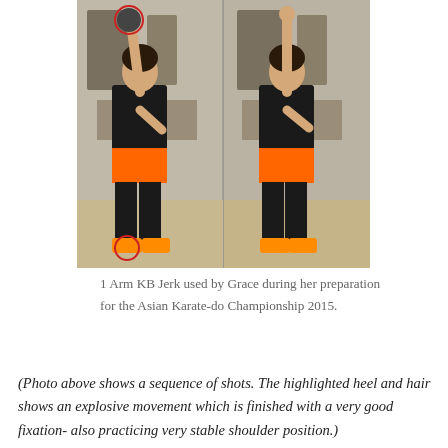[Figure (photo): Two side-by-side photos of a woman in a gym performing a 1 Arm Kettlebell Jerk exercise. She wears a black t-shirt and orange shorts over black leggings and orange sneakers. The left photo shows her with arm raised holding a kettlebell overhead; the right photo shows her standing with arm raised. Red circles highlight her heel and hair indicating explosive movement.]
1 Arm KB Jerk used by Grace during her preparation for the Asian Karate-do Championship 2015.
(Photo above shows a sequence of shots. The highlighted heel and hair shows an explosive movement which is finished with a very good fixation- also practicing very stable shoulder position.)